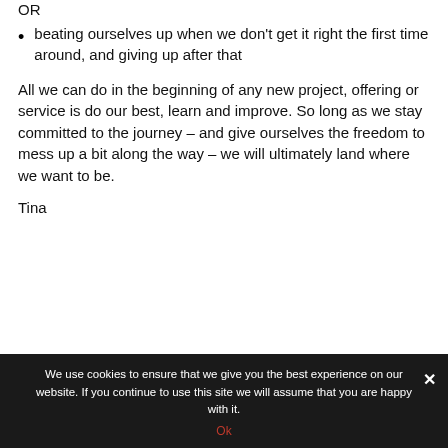OR
beating ourselves up when we don't get it right the first time around, and giving up after that
All we can do in the beginning of any new project, offering or service is do our best, learn and improve. So long as we stay committed to the journey – and give ourselves the freedom to mess up a bit along the way – we will ultimately land where we want to be.
Tina
[Figure (other): Gray box (partial image/content area at bottom of page)]
We use cookies to ensure that we give you the best experience on our website. If you continue to use this site we will assume that you are happy with it.
Ok